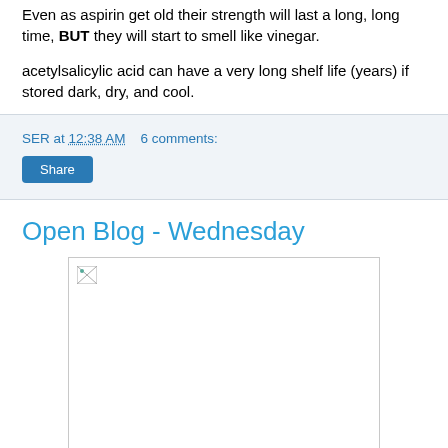Even as aspirin get old their strength will last a long, long time, BUT they will start to smell like vinegar.
acetylsalicylic acid can have a very long shelf life (years) if stored dark, dry, and cool.
SER at 12:38 AM   6 comments:
Share
Open Blog - Wednesday
[Figure (photo): Broken/missing image placeholder within a white bordered box]